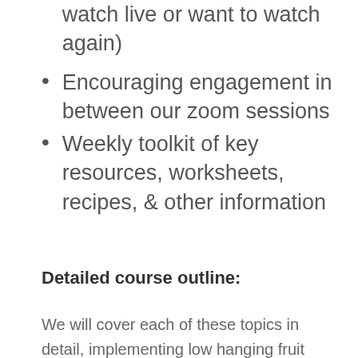watch live or want to watch again)
Encouraging engagement in between our zoom sessions
Weekly toolkit of key resources, worksheets, recipes, & other information
Detailed course outline:
We will cover each of these topics in detail, implementing low hanging fruit during the 5-week course and developing a strategy to build lasting sustainable habits.